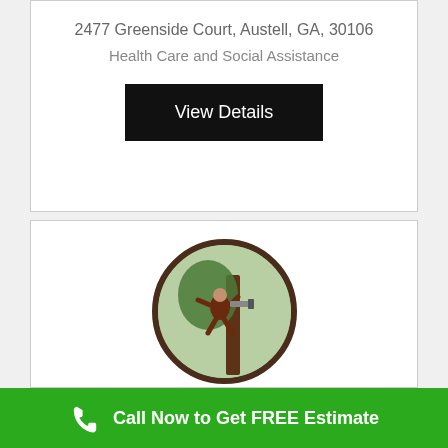2477 Greenside Court, Austell, GA, 30106
Health Care and Social Assistance
View Details
[Figure (logo): Circular logo showing a person climbing a tree with a chainsaw, dark brown figure on light green background with dark brown border]
First Choice Child Care
4143 Allegiance Avenue, Austell, GA, 30106
Call Now to Get FREE Estimate